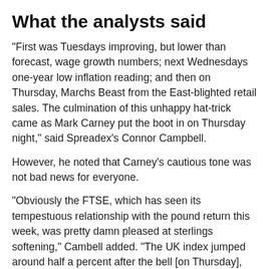What the analysts said
"First was Tuesdays improving, but lower than forecast, wage growth numbers; next Wednesdays one-year low inflation reading; and then on Thursday, Marchs Beast from the East-blighted retail sales. The culmination of this unhappy hat-trick came as Mark Carney put the boot in on Thursday night," said Spreadex's Connor Campbell.
However, he noted that Carney's cautious tone was not bad news for everyone.
"Obviously the FTSE, which has seen its tempestuous relationship with the pound return this week, was pretty damn pleased at sterlings softening," Cambell added. "The UK index jumped around half a percent after the bell [on Thursday], sending it to a fresh 11-week peak of 7360."
LCG's research team said that the Bank of England governor's